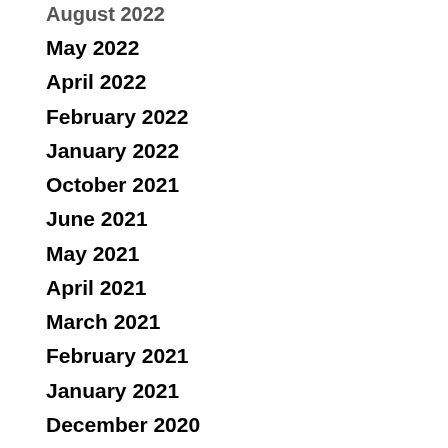August 2022
May 2022
April 2022
February 2022
January 2022
October 2021
June 2021
May 2021
April 2021
March 2021
February 2021
January 2021
December 2020
November 2020
October 2020